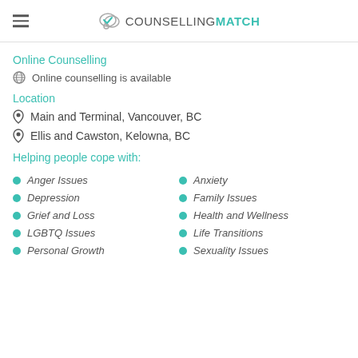COUNSELLINGMATCH
Online Counselling
Online counselling is available
Location
Main and Terminal, Vancouver, BC
Ellis and Cawston, Kelowna, BC
Helping people cope with:
Anger Issues
Anxiety
Depression
Family Issues
Grief and Loss
Health and Wellness
LGBTQ Issues
Life Transitions
Personal Growth
Sexuality Issues